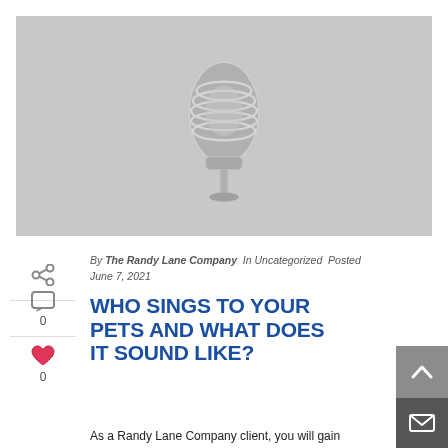[Figure (photo): Hero image with a silver vintage microphone on a gray background]
By The Randy Lane Company In Uncategorized Posted June 7, 2021
WHO SINGS TO YOUR PETS AND WHAT DOES IT SOUND LIKE?
As a Randy Lane Company client, you will gain